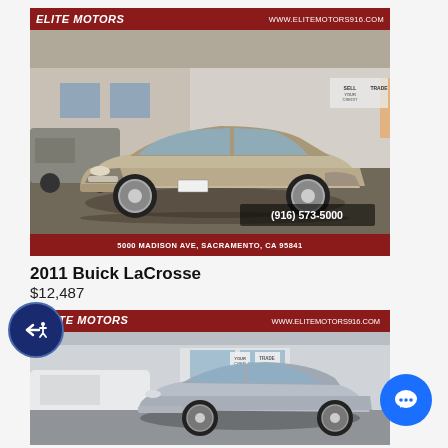[Figure (photo): Elite Motors dealership photo of a 2011 Buick LaCrosse (tan/champagne color) parked in a lot. Top banner reads 'ELITE MOTORS' and 'WWW.ELITEMOTORS916.COM'. Bottom banner reads '5000 MADISON AVE, SACRAMENTO, CA 95841' and '(916) 573-5000'.]
2011 Buick LaCrosse
$12,487
[Figure (photo): Elite Motors dealership photo of a silver/light blue sedan (partial view) parked in a lot. Top banner reads 'ELITE MOTORS' and 'WWW.ELITEMOTORS916.COM'.]